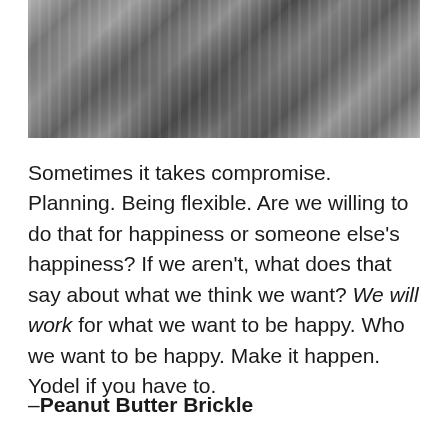[Figure (photo): Black and white photograph of two people, appears to show children or young people in striped clothing, in close conversation or interaction.]
Sometimes it takes compromise. Planning. Being flexible. Are we willing to do that for happiness or someone else's happiness? If we aren't, what does that say about what we think we want? We will work for what we want to be happy. Who we want to be happy. Make it happen. Yodel if you have to.
–Peanut Butter Brickle